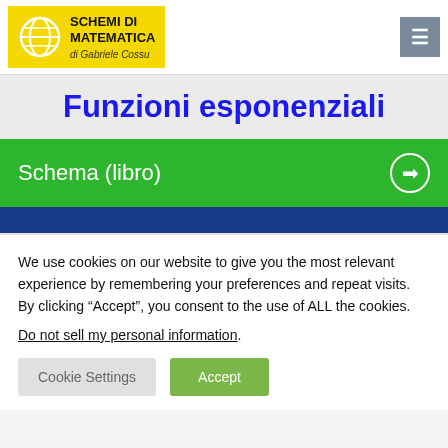SCHEMI DI MATEMATICA di Gabriele Cossu
Funzioni esponenziali
Schema (libro)
We use cookies on our website to give you the most relevant experience by remembering your preferences and repeat visits. By clicking "Accept", you consent to the use of ALL the cookies.
Do not sell my personal information.
Cookie Settings  Accept